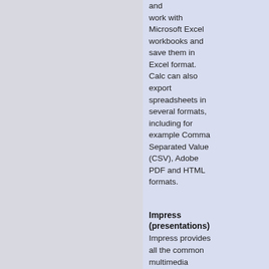and work with Microsoft Excel workbooks and save them in Excel format. Calc can also export spreadsheets in several formats, including for example Comma Separated Value (CSV), Adobe PDF and HTML formats.
Impress (presentations)
Impress provides all the common multimedia presentation tools, such as special effects, animation, and drawing tools. It is integrated with the advanced graphics